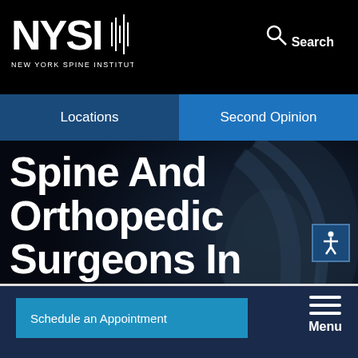NEW YORK SPINE INSTITUTE
Search
Locations
Second Opinion
Spine And Orthopedic Surgeons In West Cornwall, NY
Schedule an Appointment
Menu